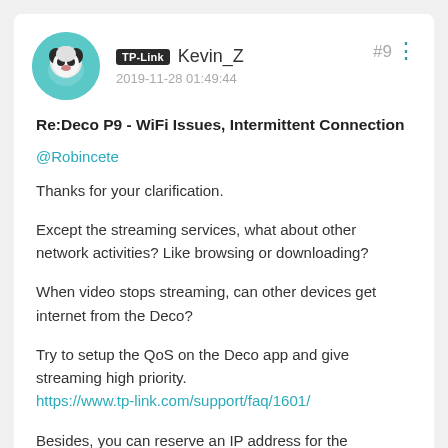TP-Link Kevin_Z | 2019-11-28 01:49:44 | #9
Re:Deco P9 - WiFi Issues, Intermittent Connection
@Robincete
Thanks for your clarification.
Except the streaming services, what about other network activities? Like browsing or downloading?
When video stops streaming, can other devices get internet from the Deco?
Try to setup the QoS on the Deco app and give streaming high priority.
https://www.tp-link.com/support/faq/1601/
Besides, you can reserve an IP address for the streaming devices on the Deco to give it a go.